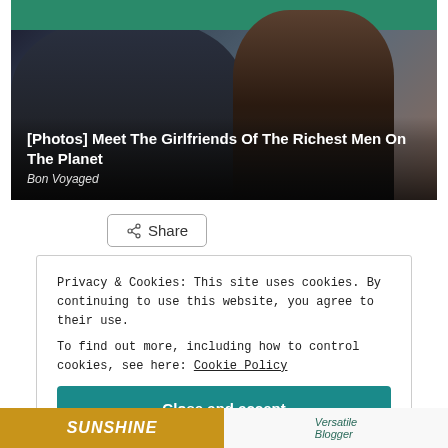[Figure (photo): Two people sitting in stadium seats with teal/green background. A man in a suit with sunglasses on left, a woman with long brown hair and sunglasses on right. Overlaid text reads '[Photos] Meet The Girlfriends Of The Richest Men On The Planet' and 'Bon Voyaged'.]
Share
Privacy & Cookies: This site uses cookies. By continuing to use this website, you agree to their use.
To find out more, including how to control cookies, see here: Cookie Policy
Close and accept
[Figure (photo): Bottom strip showing partial images: left side shows 'SUNSHINE' text in stylized font on orange/brown background, right side shows 'Versatile Blogger' text in green cursive.]